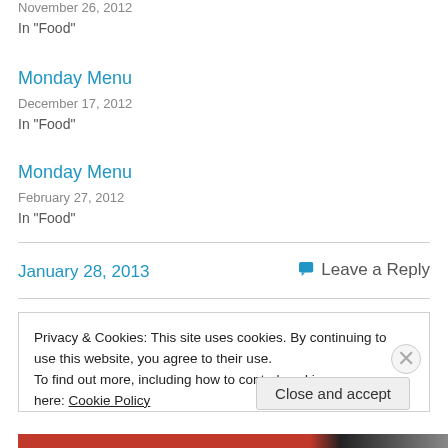November 26, 2012
In "Food"
Monday Menu
December 17, 2012
In "Food"
Monday Menu
February 27, 2012
In "Food"
January 28, 2013
Leave a Reply
Privacy & Cookies: This site uses cookies. By continuing to use this website, you agree to their use.
To find out more, including how to control cookies, see here: Cookie Policy
Close and accept